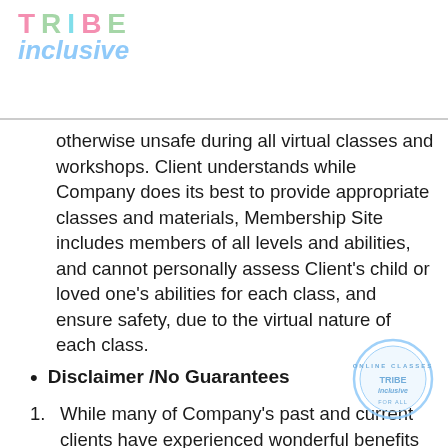TRIBE inclusive
otherwise unsafe during all virtual classes and workshops. Client understands while Company does its best to provide appropriate classes and materials, Membership Site includes members of all levels and abilities, and cannot personally assess Client’s child or loved one’s abilities for each class, and ensure safety, due to the virtual nature of each class.
Disclaimer /No Guarantees
While many of Company’s past and current clients have experienced wonderful benefits from the content contained in Membership Site, Company cannot guarantee results and cannot make any representations or guarantee